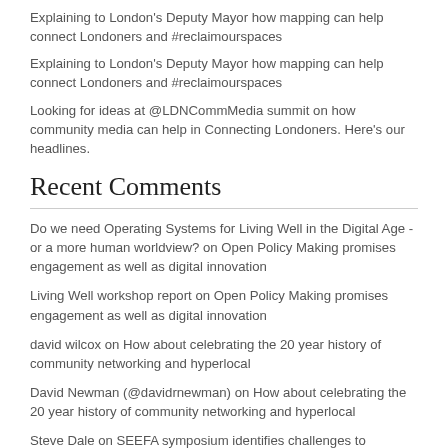Explaining to London's Deputy Mayor how mapping can help connect Londoners and #reclaimourspaces
Explaining to London's Deputy Mayor how mapping can help connect Londoners and #reclaimourspaces
Looking for ideas at @LDNCommMedia summit on how community media can help in Connecting Londoners. Here's our headlines.
Recent Comments
Do we need Operating Systems for Living Well in the Digital Age - or a more human worldview? on Open Policy Making promises engagement as well as digital innovation
Living Well workshop report on Open Policy Making promises engagement as well as digital innovation
david wilcox on How about celebrating the 20 year history of community networking and hyperlocal
David Newman (@davidrnewman) on How about celebrating the 20 year history of community networking and hyperlocal
Steve Dale on SEEFA symposium identifies challenges to innovation in Ageing Better – it's culture as much as tech
Steve Dale on SEEFA symposium identifies challenges to innovation in Ageing Better – it's culture as much as tech
John Popham on How BIG could digitally amplify the…